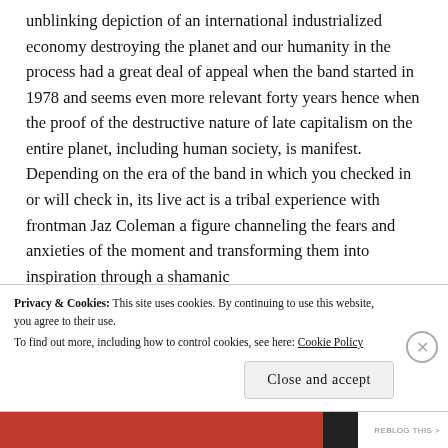unblinking depiction of an international industrialized economy destroying the planet and our humanity in the process had a great deal of appeal when the band started in 1978 and seems even more relevant forty years hence when the proof of the destructive nature of late capitalism on the entire planet, including human society, is manifest. Depending on the era of the band in which you checked in or will check in, its live act is a tribal experience with frontman Jaz Coleman a figure channeling the fears and anxieties of the moment and transforming them into inspiration through a shamanic performance. The last time Killing Joke came to Denver…
Privacy & Cookies: This site uses cookies. By continuing to use this website, you agree to their use.
To find out more, including how to control cookies, see here: Cookie Policy
Close and accept